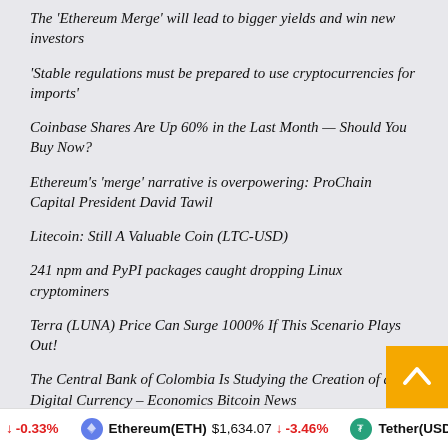The ‘Ethereum Merge’ will lead to bigger yields and win new investors
‘Stable regulations must be prepared to use cryptocurrencies for imports’
Coinbase Shares Are Up 60% in the Last Month — Should You Buy Now?
Ethereum’s ‘merge’ narrative is overpowering: ProChain Capital President David Tawil
Litecoin: Still A Valuable Coin (LTC-USD)
241 npm and PyPI packages caught dropping Linux cryptominers
Terra (LUNA) Price Can Surge 1000% If This Scenario Plays Out!
The Central Bank of Colombia Is Studying the Creation of a Digital Currency – Economics Bitcoin News
-0.33%   Ethereum(ETH)  $1,634.07  -3.46%   Tether(USDT)